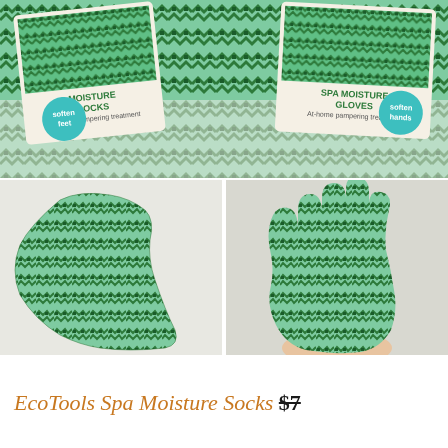[Figure (photo): Product photo collage showing EcoTools Spa Moisture Socks and Spa Moisture Gloves packaging (top), a sock worn on a foot (bottom left), and a glove worn on a hand (bottom right). Products feature a green geometric chevron pattern on teal/white background.]
EcoTools Spa Moisture Socks $7